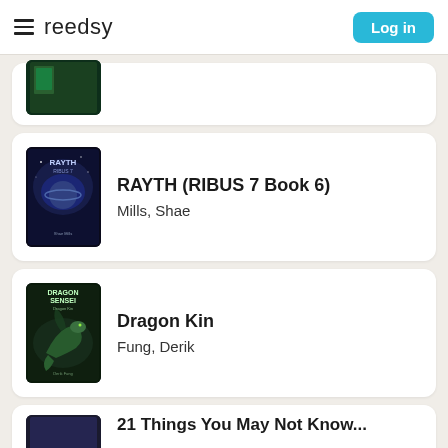reedsy | Log in
RAYTH (RIBUS 7 Book 6) — Mills, Shae
Dragon Kin — Fung, Derik
21 Things You May Not Know...